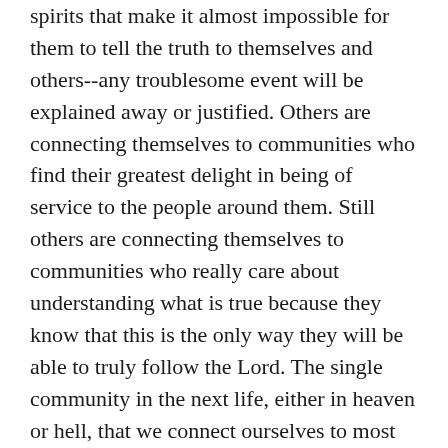spirits that make it almost impossible for them to tell the truth to themselves and others--any troublesome event will be explained away or justified. Others are connecting themselves to communities who find their greatest delight in being of service to the people around them. Still others are connecting themselves to communities who really care about understanding what is true because they know that this is the only way they will be able to truly follow the Lord. The single community in the next life, either in heaven or hell, that we connect ourselves to most closely by our daily choices will be the one in which we live to eternity after death.